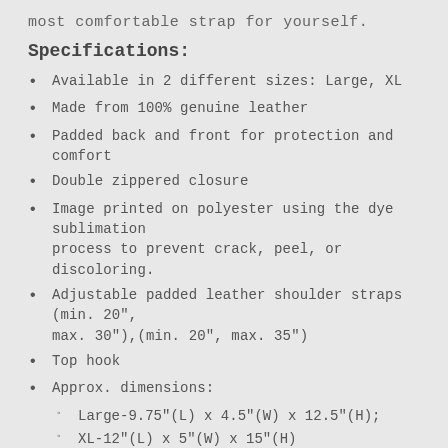most comfortable strap for yourself.
Specifications:
Available in 2 different sizes: Large, XL
Made from 100% genuine leather
Padded back and front for protection and comfort
Double zippered closure
Image printed on polyester using the dye sublimation process to prevent crack, peel, or discoloring.
Adjustable padded leather shoulder straps (min. 20", max. 30"),(min. 20", max. 35")
Top hook
Approx. dimensions:
Large-9.75"(L) x 4.5"(W) x 12.5"(H);
XL-12"(L) x 5"(W) x 15"(H)
***Please Note BEFORE Ordering***